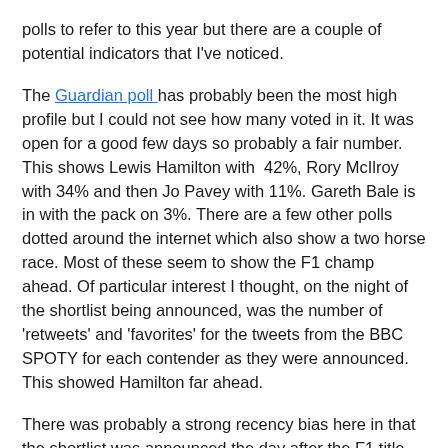polls to refer to this year but there are a couple of potential indicators that I've noticed.
The Guardian poll has probably been the most high profile but I could not see how many voted in it. It was open for a good few days so probably a fair number. This shows Lewis Hamilton with 42%, Rory McIlroy with 34% and then Jo Pavey with 11%. Gareth Bale is in with the pack on 3%. There are a few other polls dotted around the internet which also show a two horse race. Most of these seem to show the F1 champ ahead. Of particular interest I thought, on the night of the shortlist being announced, was the number of 'retweets' and 'favorites' for the tweets from the BBC SPOTY for each contender as they were announced. This showed Hamilton far ahead.
There was probably a strong recency bias here in that the shortlist was announced the day after the F1 title was decided. The question is how much will this bias wear off, if at all. Rory